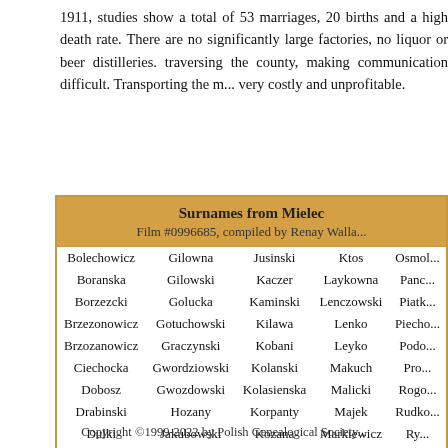1911, studies show a total of 53 marriages, 20 births and a high death rate. There are no significantly large factories, no liquor or beer distilleries. traversing the county, making communication difficult. Transporting the m... very costly and unprofitable.
| Col1 | Col2 | Col3 | Col4 | Col5 |
| --- | --- | --- | --- | --- |
| Bolechowicz | Gilowna | Jusinski | Ktos | Osmol... |
| Boranska | Gilowski | Kaczer | Laykowna | Panc... |
| Borzezcki | Golucka | Kaminski | Lenczowski | Piatk... |
| Brzezonowicz | Gotuchowski | Kilawa | Lenko | Piecho... |
| Brzozanowicz | Graczynski | Kobani | Leyko | Podo... |
| Ciechocka | Gwordziowski | Kolanski | Makuch | Pro... |
| Dobosz | Gwozdowski | Kolasienska | Malicki | Rogo... |
| Drabinski | Hozany | Korpanty | Majek | Rudko... |
| Dulki | Jakubowski | Kozana | Markiewicz | Ry... |
| Gedzarowna | Jaworski | Kozianski | Maziarski | Ryni... |
Copyright ©1999-2022 by Polish Genealogical Society...